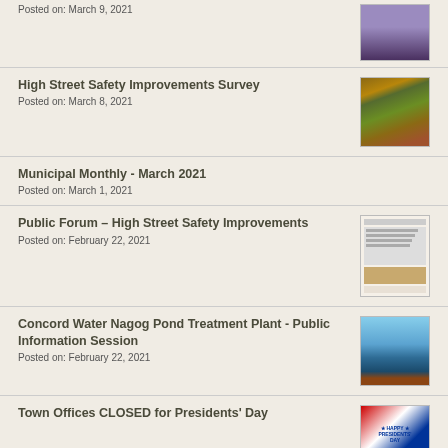Posted on: March 9, 2021
High Street Safety Improvements Survey
Posted on: March 8, 2021
Municipal Monthly - March 2021
Posted on: March 1, 2021
Public Forum – High Street Safety Improvements
Posted on: February 22, 2021
Concord Water Nagog Pond Treatment Plant - Public Information Session
Posted on: February 22, 2021
Town Offices CLOSED for Presidents' Day